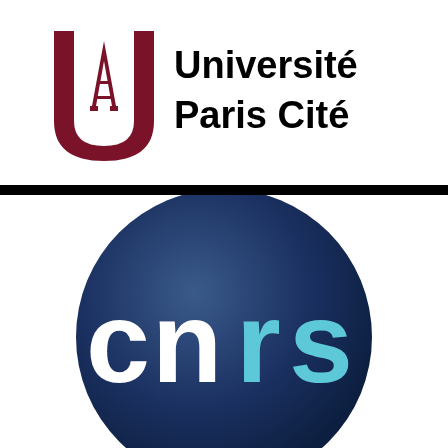[Figure (logo): Université Paris Cité logo with dark red stylized U/Eiffel Tower monogram on left and black text 'Université Paris Cité' on right]
[Figure (logo): CNRS logo: dark navy blue circle with white lowercase 'c' and 'm' and cyan/light blue lowercase 'n' and 'r' and 's' letters spelling 'cnrs']